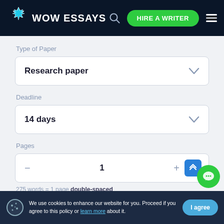WOW ESSAYS — HIRE A WRITER
Type of Paper
Research paper
Deadline
14 days
Pages
1
275 words = 1 page double-spaced
We use cookies to enhance our website for you. Proceed if you agree to this policy or learn more about it.